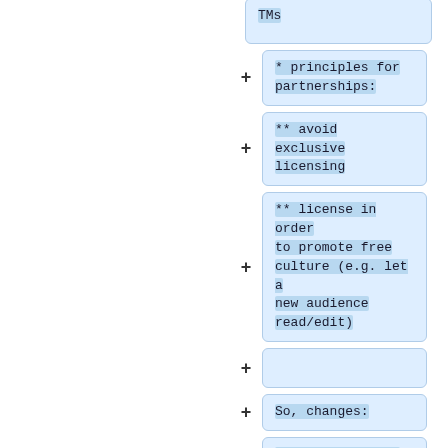TMs
* principles for partnerships:
** avoid exclusive licensing
** license in order to promote free culture (e.g. let a new audience read/edit)
So, changes:
* "Chapters will always be able to do what they have traditionally done" (e.g. merch)